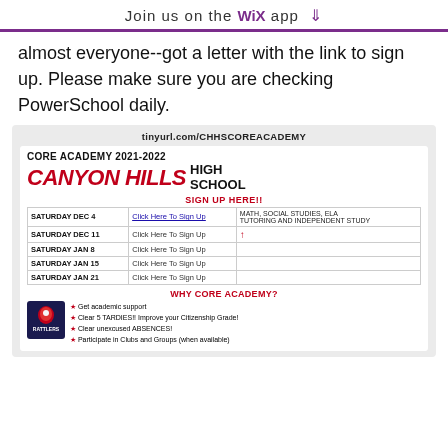Join us on the WiX app ↓
almost everyone--got a letter with the link to sign up. Please make sure you are checking PowerSchool daily.
tinyurl.com/CHHSCOREACADEMY
[Figure (infographic): Canyon Hills High School Core Academy 2021-2022 flyer with sign-up schedule table and Why Core Academy benefits section]
| Date | Sign Up | Description |
| --- | --- | --- |
| SATURDAY DEC 4 | Click Here To Sign Up | MATH, SOCIAL STUDIES, ELA TUTORING AND INDEPENDENT STUDY |
| SATURDAY DEC 11 | Click Here To Sign Up | ↑ |
| SATURDAY JAN 8 | Click Here To Sign Up |  |
| SATURDAY JAN 15 | Click Here To Sign Up |  |
| SATURDAY JAN 21 | Click Here To Sign Up |  |